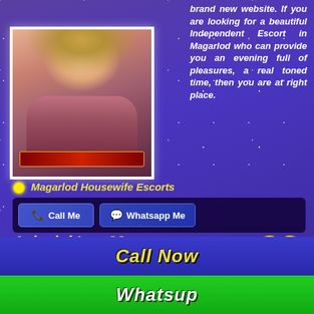brand new website. If you are looking for a beautiful Independent Escort in Magarlod who can provide you an evening full of pleasures, a real toned time, then you are at right place.
[Figure (photo): Photo of a woman escort]
🌟 Magarlod Housewife Escorts
📞 Call Me   💬 Whatsapp Me
Ashwini Iyer 23
Private Housewife
Airport, Magarlod
[Figure (other): Verified badge]
Gentlemen! I am Ashwini Iyer, a 23 year old Private Beautiful Housewife Provide Qualified Escorts Service in Magarlod City With High Privacy and Confidencially.I Communicate Through E-Mail Only. Because Its Not Possible For me to Share My Cell no, Because
Call Now
Whatsup